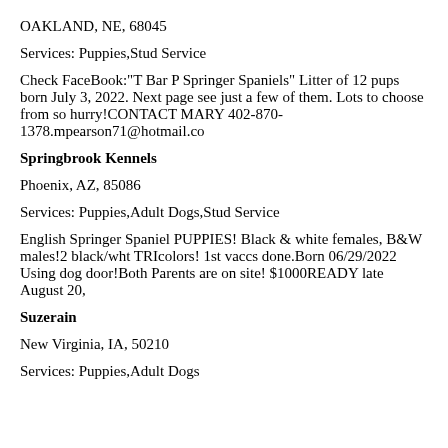OAKLAND, NE, 68045
Services: Puppies,Stud Service
Check FaceBook:"T Bar P Springer Spaniels" Litter of 12 pups born July 3, 2022. Next page see just a few of them. Lots to choose from so hurry!CONTACT MARY 402-870-1378.mpearson71@hotmail.co
Springbrook Kennels
Phoenix, AZ, 85086
Services: Puppies,Adult Dogs,Stud Service
English Springer Spaniel PUPPIES! Black & white females, B&W males!2 black/wht TRIcolors! 1st vaccs done.Born 06/29/2022 Using dog door!Both Parents are on site! $1000READY late August 20,
Suzerain
New Virginia, IA, 50210
Services: Puppies,Adult Dogs